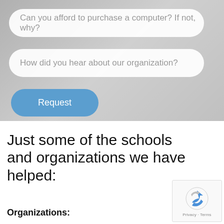[Figure (screenshot): Background photo of a computer/laptop in muted grey tones with two white rounded input fields and a blue Request button overlaid on top]
Can you afford to purchase a computer? If not, why?
How did you hear about our organization?
Request
Just some of the schools and organizations we have helped:
Organizations: